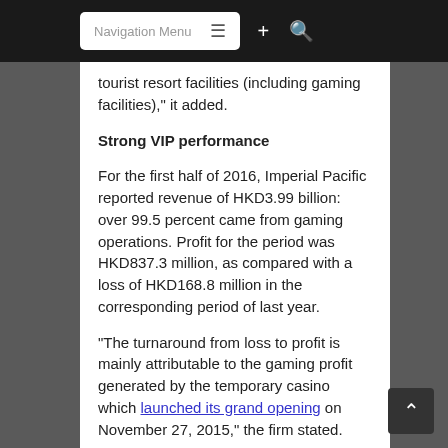Navigation Menu
tourist resort facilities (including gaming facilities)," it added.
Strong VIP performance
For the first half of 2016, Imperial Pacific reported revenue of HKD3.99 billion: over 99.5 percent came from gaming operations. Profit for the period was HKD837.3 million, as compared with a loss of HKD168.8 million in the corresponding period of last year.
“The turnaround from loss to profit is mainly attributable to the gaming profit generated by the temporary casino which launched its grand opening on November 27, 2015,” the firm stated.
Imperial Pacific’s US$25-million temporary